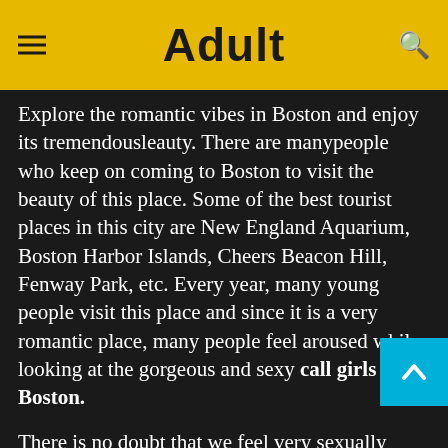Adult
Explore the romantic vibes in Boston and enjoy its tremendous beauty. There are many people who keep on coming to Boston to visit the beauty of this place. Some of the best tourist places in this city are New England Aquarium, Boston Harbor Islands, Cheers Beacon Hill, Fenway Park, etc. Every year, many young people visit this place and since it is a very romantic place, many people feel aroused while looking at the gorgeous and sexy call girls of Boston.
There is no doubt that we feel very sexually active once we are alone and that is why we need a call girl. So if you are looking to get relaxed while an erotic massage in Boston, or you wish to take a gorgeous independent escort in Boston on a date